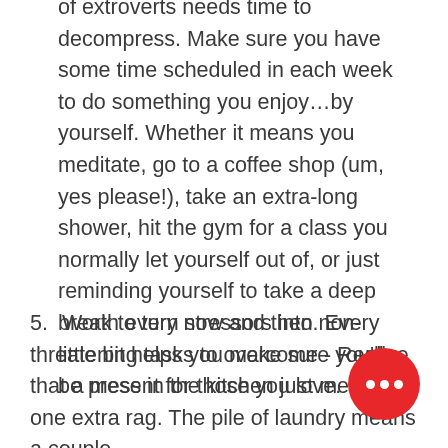of extroverts needs time to decompress. Make sure you have some time scheduled in each week to do something you enjoy…by yourself. Whether it means you meditate, go to a coffee shop (um, yes please!), take an extra-long shower, hit the gym for a class you normally let yourself out of, or just reminding yourself to take a deep breath every now and then. Every little bit helps you make sure you'll be present for those you love.
5. Work to turn stressors into non-threatening tasks to overcome - Realize that a mess in the kitchen just means one extra rag. The pile of laundry means a couple